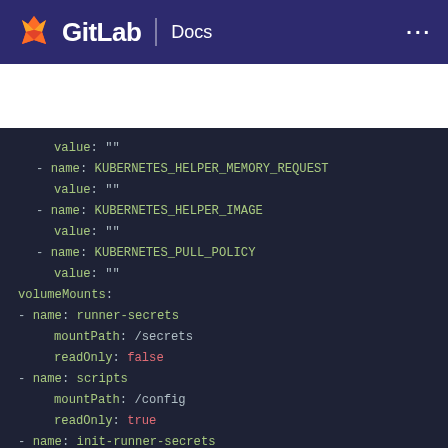GitLab Docs
[Figure (screenshot): GitLab Docs website header with fox logo, GitLab wordmark, Docs label, and navigation dots]
value: ""
- name: KUBERNETES_HELPER_MEMORY_REQUEST
  value: ""
- name: KUBERNETES_HELPER_IMAGE
  value: ""
- name: KUBERNETES_PULL_POLICY
  value: ""
volumeMounts:
- name: runner-secrets
  mountPath: /secrets
  readOnly: false
- name: scripts
  mountPath: /config
  readOnly: true
- name: init-runner-secrets
  mountPath: /init-secrets
  readOnly: true